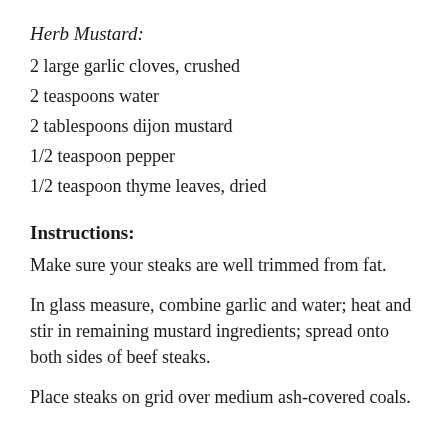Herb Mustard:
2 large garlic cloves, crushed
2 teaspoons water
2 tablespoons dijon mustard
1/2 teaspoon pepper
1/2 teaspoon thyme leaves, dried
Instructions:
Make sure your steaks are well trimmed from fat.
In glass measure, combine garlic and water; heat and stir in remaining mustard ingredients; spread onto both sides of beef steaks.
Place steaks on grid over medium ash-covered coals.